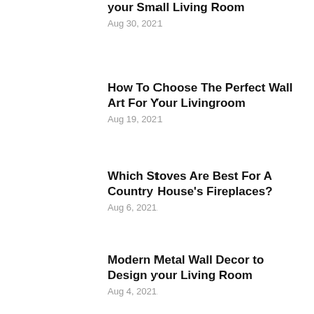your Small Living Room
Aug 30, 2021
How To Choose The Perfect Wall Art For Your Livingroom
Aug 19, 2021
Which Stoves Are Best For A Country House's Fireplaces?
Aug 6, 2021
Modern Metal Wall Decor to Design your Living Room
Aug 4, 2021
Best Budget Living Room D…